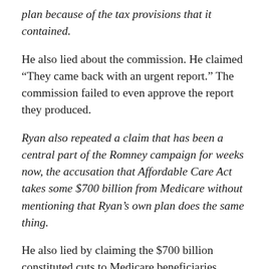plan because of the tax provisions that it contained.
He also lied about the commission. He claimed “They came back with an urgent report.” The commission failed to even approve the report they produced.
Ryan also repeated a claim that has been a central part of the Romney campaign for weeks now, the accusation that Affordable Care Act takes some $700 billion from Medicare without mentioning that Ryan’s own plan does the same thing.
He also lied by claiming the $700 billion constituted cuts to Medicare beneficiaries.
All they have is lies. This isn’t some fibbing about accomplishments here and there. This is an entire campaign built on lies. They lie about their opponent and his policies, they lie about their own policies, they lie about their personal histories, they lie about United States history, they lie about simply everything. Every claim, every promise,